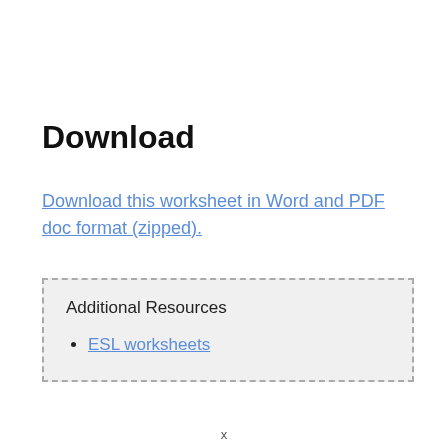Download
Download this worksheet in Word and PDF doc format (zipped).
Additional Resources
ESL worksheets